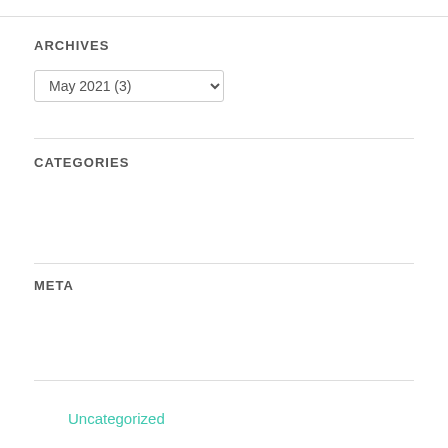ARCHIVES
May 2021 (3)
CATEGORIES
Uncategorized
META
Register
Log in